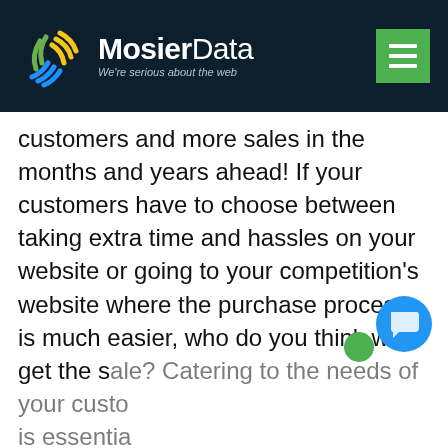MosierData — We're serious about the web
customers and more sales in the months and years ahead! If your customers have to choose between taking extra time and hassles on your website or going to your competition's website where the purchase process is much easier, who do you think will get the sale? Catering to the needs of your custo... is essential... use across... unable to predict your customers' lives or device preference, responsive web design a smart choice because it covers all the
[Figure (screenshot): Chat popup widget with MosierData logo icon, close button, and message: Hi! Text us here if you would like.]